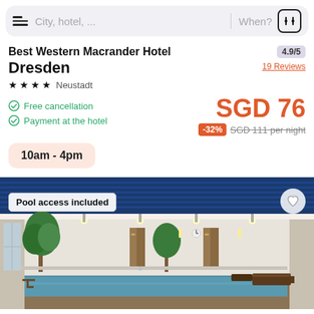City, hotel, ...  When?
Best Western Macrander Hotel Dresden
★★★★  Neustadt
4.9/5
19 Reviews
Free cancellation
Payment at the hotel
SGD 76
-32%  SGD 111 per night
10am - 4pm
[Figure (photo): Indoor hotel pool with blue ceiling, potted trees, lounge chairs and corridor doors visible in background]
Pool access included